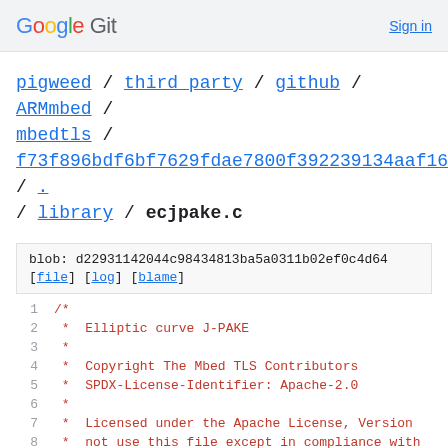Google Git  Sign in
pigweed / third_party / github / ARMmbed / mbedtls / f73f896bdf6bf7629fdae7800f392239134aaf16 / . / library / ecjpake.c
blob: d22931142044c98434813ba5a0311b02ef0c4d64
[file] [log] [blame]
1  /*
2   *  Elliptic curve J-PAKE
3   *
4   *  Copyright The Mbed TLS Contributors
5   *  SPDX-License-Identifier: Apache-2.0
6   *
7   *  Licensed under the Apache License, Version
8   *  not use this file except in compliance with